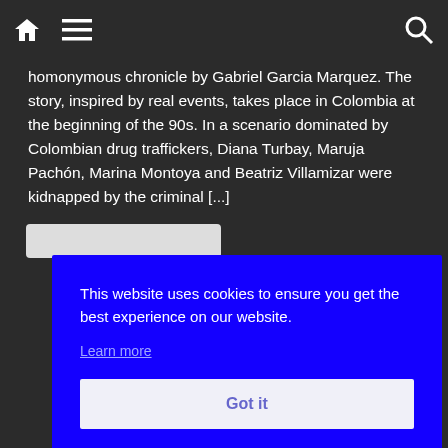[navigation bar with home icon, menu icon, search icon]
homonymous chronicle by Gabriel Garcia Marquez. The story, inspired by real events, takes place in Colombia at the beginning of the 90s. In a scenario dominated by Colombian drug traffickers, Diana Turbay, Maruja Pachón, Marina Montoya and Beatriz Villamizar were kidnapped by the criminal [...]
[Figure (screenshot): Cookie consent overlay banner with blue background. Text reads: 'This website uses cookies to ensure you get the best experience on our website.' with a 'Learn more' hyperlink and a 'Got it' button.]